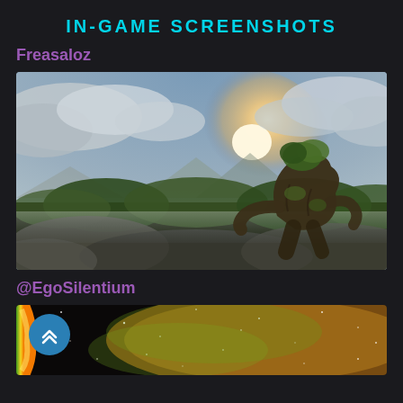IN-GAME SCREENSHOTS
Freasaloz
[Figure (screenshot): In-game screenshot by Freasaloz showing a large tree-like creature or golem standing on rocky terrain with lush green vegetation, dramatic cloudy sky with bright sun behind, moody cinematic lighting]
@EgoSilentium
[Figure (screenshot): In-game screenshot by @EgoSilentium showing a colorful space scene with stars, green and yellow nebula/gas cloud, and a bright planet or object on the left edge]